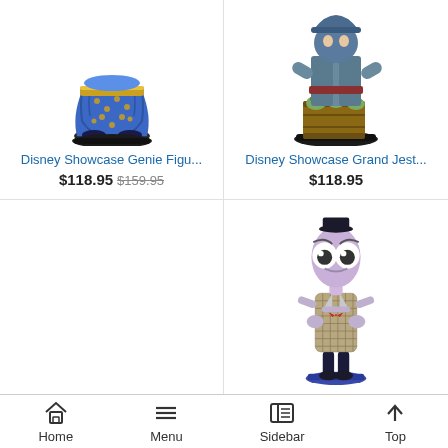[Figure (photo): Disney Showcase Genie figurine showing blue lower body with gold trim harem pants on black base]
Disney Showcase Genie Figu...
$118.95  $159.95
[Figure (photo): Disney Showcase Grand Jester figurine showing character with barrels and frogs on base]
Disney Showcase Grand Jest...
$118.95
[Figure (photo): Empty product card with no image]
[Figure (photo): Disney Showcase Fear figurine from Inside Out showing tall thin character with large eyes, bow tie, wearing checkered jacket and dark pants on blue base]
Home  Menu  Sidebar  Top